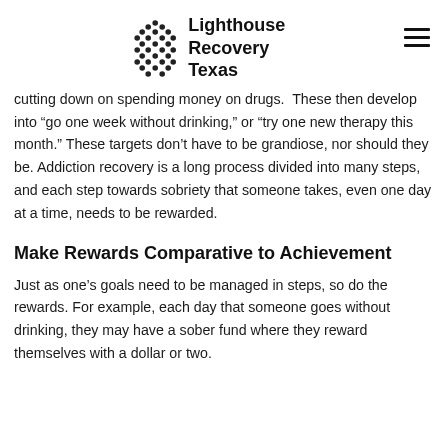Lighthouse Recovery Texas
cutting down on spending money on drugs.  These then develop into “go one week without drinking,” or “try one new therapy this month.” These targets don’t have to be grandiose, nor should they be. Addiction recovery is a long process divided into many steps, and each step towards sobriety that someone takes, even one day at a time, needs to be rewarded.
Make Rewards Comparative to Achievement
Just as one’s goals need to be managed in steps, so do the rewards. For example, each day that someone goes without drinking, they may have a sober fund where they reward themselves with a dollar or two.